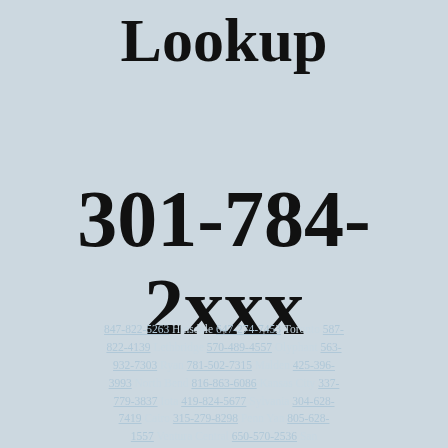Lookup
301-784-2xxx
847-822-5263 Hinsdale 647-274-7453 Toronto 587-822-4139 Lethbridge 570-489-4557 Olyphant 563-932-7303 Ryan 781-502-7315 Malden 425-396-3993 North Bend 816-863-6086 Kansas City 337-779-3837 Iota 419-824-5677 Sylvania 304-628-7419 Cairo 315-279-8298 Penn Yan 805-628-1557 Ventura Central 650-570-2536 San